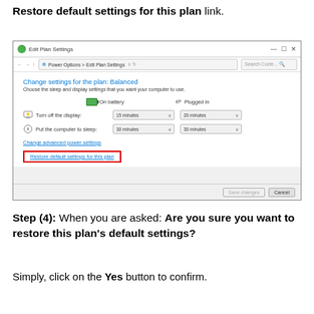Restore default settings for this plan link.
[Figure (screenshot): Windows 'Edit Plan Settings' dialog showing power settings with Turn off the display (15 minutes / 20 minutes) and Put the computer to sleep (30 minutes / 30 minutes) options. 'Change advanced power settings' link and 'Restore default settings for this plan' link (highlighted with red border). Save changes and Cancel buttons at bottom.]
Step (4): When you are asked: Are you sure you want to restore this plan's default settings? Simply, click on the Yes button to confirm.